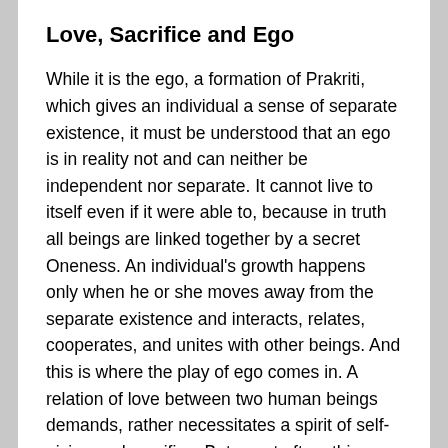Love, Sacrifice and Ego
While it is the ego, a formation of Prakriti, which gives an individual a sense of separate existence, it must be understood that an ego is in reality not and can neither be independent nor separate. It cannot live to itself even if it were able to, because in truth all beings are linked together by a secret Oneness. An individual's growth happens only when he or she moves away from the separate existence and interacts, relates, cooperates, and unites with other beings. And this is where the play of ego comes in. A relation of love between two human beings demands, rather necessitates a spirit of self-giving and sacrifice. But, most often, this sacrifice is done unconsciously, egoistically and without knowledge or acceptance of the true